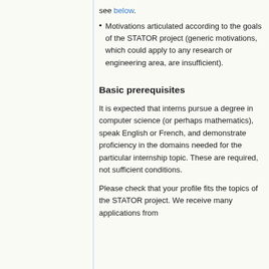see below.
Motivations articulated according to the goals of the STATOR project (generic motivations, which could apply to any research or engineering area, are insufficient).
Basic prerequisites
It is expected that interns pursue a degree in computer science (or perhaps mathematics), speak English or French, and demonstrate proficiency in the domains needed for the particular internship topic. These are required, not sufficient conditions.
Please check that your profile fits the topics of the STATOR project. We receive many applications from